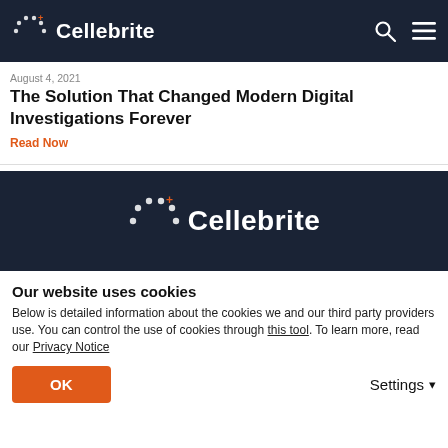Cellebrite
August 4, 2021
The Solution That Changed Modern Digital Investigations Forever
Read Now
[Figure (logo): Cellebrite logo with dots icon and wordmark on dark background]
Our website uses cookies
Below is detailed information about the cookies we and our third party providers use. You can control the use of cookies through this tool. To learn more, read our Privacy Notice
OK
Settings